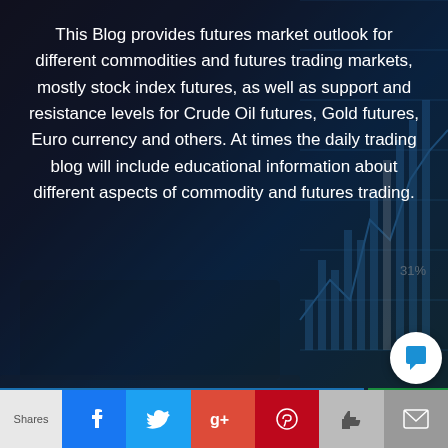[Figure (photo): Dark background image with financial chart/trading data overlay and laptop, serving as hero banner background]
This Blog provides futures market outlook for different commodities and futures trading markets, mostly stock index futures, as well as support and resistance levels for Crude Oil futures, Gold futures, Euro currency and others. At times the daily trading blog will include educational information about different aspects of commodity and futures trading.
Future Trading  >   Tools  >  Daily Support & Resistance Levels
Quick Links: Commissions | Day Margins | Contact Us
OPEN AN ACCOUNT
Shares